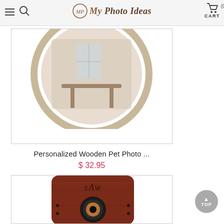My Photo Ideas — Cart (0)
[Figure (photo): Round wooden photo frame or mirror with a reflection of a room interior, partially visible at the top of the product card]
Personalized Wooden Pet Photo ...
$ 32.95
[Figure (photo): Personalized wooden Bluetooth speaker with dark rosewood finish and engraved monogram letters 'sAw', featuring a circular speaker driver with copper ring]